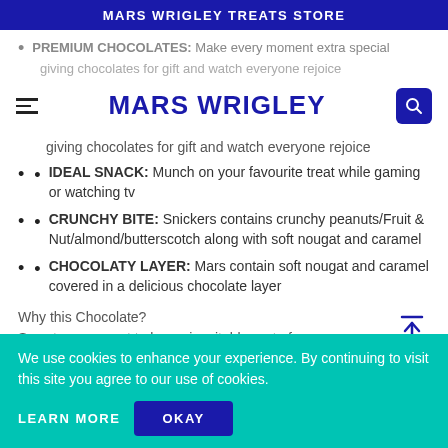MARS WRIGLEY TREATS STORE
PREMIUM CHOCOLATES: Make every moment extra special giving chocolates for gift and watch everyone rejoice
MARS WRIGLEY
IDEAL SNACK: Munch on your favourite treat while gaming or watching tv
CRUNCHY BITE: Snickers contains crunchy peanuts/Fruit & Nut/almond/butterscotch along with soft nougat and caramel
CHOCOLATY LAYER: Mars contain soft nougat and caramel covered in a delicious chocolate layer
Why this Chocolate?
Sweets are meant to be an inevitable part of every
We use cookies to enhance your experience. By continuing to visit this site you agree to our use of cookies.